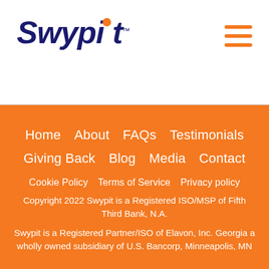[Figure (logo): Swypit logo with dark navy italic bold text, orange dot over the letter i, and TM superscript]
Swypit™
Home   About   FAQs   Testimonials
Giving Back   Blog   Media   Contact
Cookie Policy   Terms of Service   Privacy policy
Copyright 2022 Swypit is a Registered ISO/MSP of Fifth Third Bank, N.A.
Swypit is a Registered Partner/ISO of Elavon, Inc. Georgia a wholly owned subsidiary of U.S. Bancorp, Minneapolis, MN